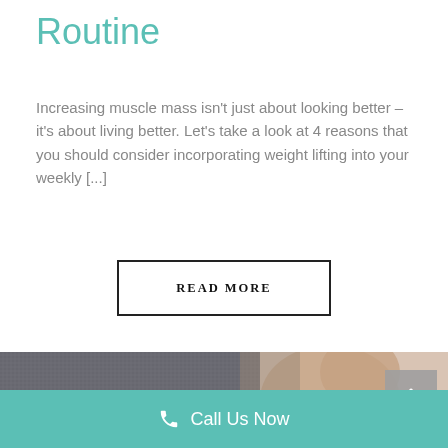Routine
Increasing muscle mass isn't just about looking better – it's about living better. Let's take a look at 4 reasons that you should consider incorporating weight lifting into your weekly [...]
READ MORE
[Figure (photo): Close-up photo of a person in a grey t-shirt showing their arm/shoulder area against a light background]
Call Us Now